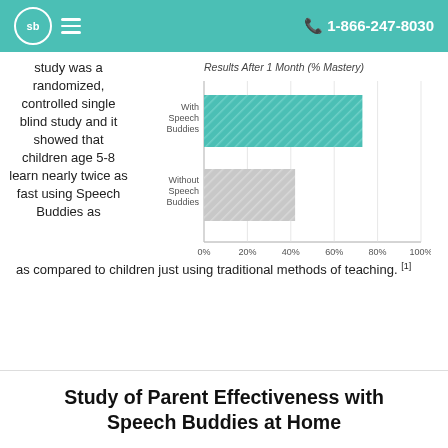sb  1-866-247-8030
study was a randomized, controlled single blind study and it showed that children age 5-8 learn nearly twice as fast using Speech Buddies as compared to children just using traditional methods of teaching. [1]
[Figure (bar-chart): Results After 1 Month (% Mastery)]
Study of Parent Effectiveness with Speech Buddies at Home